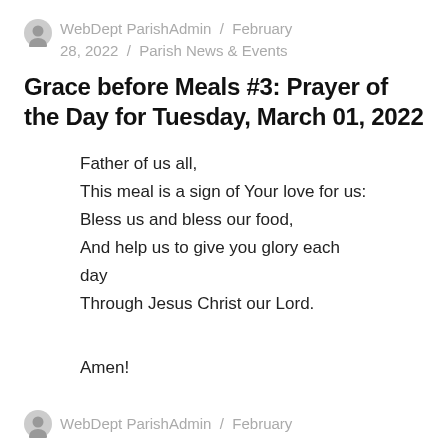WebDept ParishAdmin / February 28, 2022 / Parish News & Events
Grace before Meals #3: Prayer of the Day for Tuesday, March 01, 2022
Father of us all,
This meal is a sign of Your love for us:
Bless us and bless our food,
And help us to give you glory each day
Through Jesus Christ our Lord.

Amen!
WebDept ParishAdmin / February